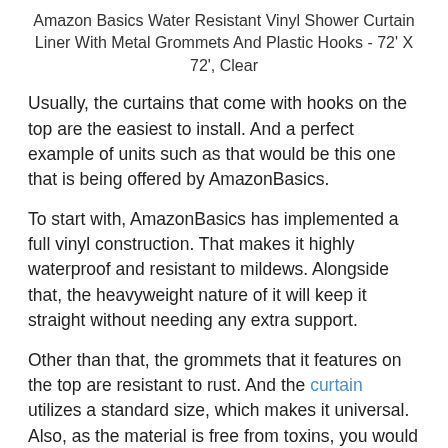Amazon Basics Water Resistant Vinyl Shower Curtain Liner With Metal Grommets And Plastic Hooks - 72' X 72', Clear
Usually, the curtains that come with hooks on the top are the easiest to install. And a perfect example of units such as that would be this one that is being offered by AmazonBasics.
To start with, AmazonBasics has implemented a full vinyl construction. That makes it highly waterproof and resistant to mildews. Alongside that, the heavyweight nature of it will keep it straight without needing any extra support.
Other than that, the grommets that it features on the top are resistant to rust. And the curtain utilizes a standard size, which makes it universal. Also, as the material is free from toxins, you would not have to worry about any chemical smell or funky odor either.
Highlighted Features